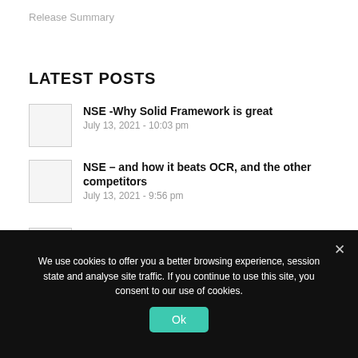Release Summary
LATEST POSTS
NSE -Why Solid Framework is great
July 13, 2021 - 10:03 pm
NSE – and how it beats OCR, and the other competitors
July 13, 2021 - 9:56 pm
PDFs, Passwords and Permissions
April 8, 2020 - 11:36 pm
We use cookies to offer you a better browsing experience, session state and analyse site traffic. If you continue to use this site, you consent to our use of cookies.